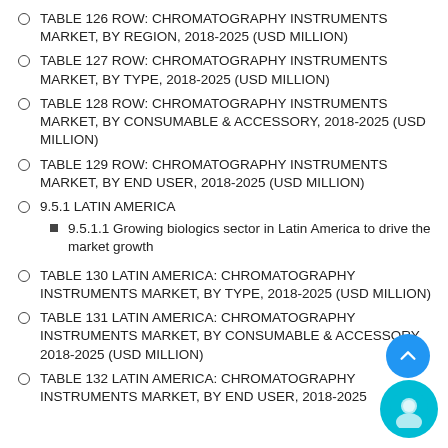TABLE 126 ROW: CHROMATOGRAPHY INSTRUMENTS MARKET, BY REGION, 2018-2025 (USD MILLION)
TABLE 127 ROW: CHROMATOGRAPHY INSTRUMENTS MARKET, BY TYPE, 2018-2025 (USD MILLION)
TABLE 128 ROW: CHROMATOGRAPHY INSTRUMENTS MARKET, BY CONSUMABLE & ACCESSORY, 2018-2025 (USD MILLION)
TABLE 129 ROW: CHROMATOGRAPHY INSTRUMENTS MARKET, BY END USER, 2018-2025 (USD MILLION)
9.5.1 LATIN AMERICA
9.5.1.1 Growing biologics sector in Latin America to drive the market growth
TABLE 130 LATIN AMERICA: CHROMATOGRAPHY INSTRUMENTS MARKET, BY TYPE, 2018-2025 (USD MILLION)
TABLE 131 LATIN AMERICA: CHROMATOGRAPHY INSTRUMENTS MARKET, BY CONSUMABLE & ACCESSORY, 2018-2025 (USD MILLION)
TABLE 132 LATIN AMERICA: CHROMATOGRAPHY INSTRUMENTS MARKET, BY END USER, 2018-2025